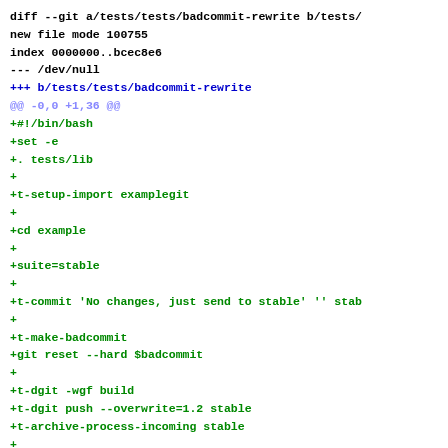diff --git a/tests/tests/badcommit-rewrite b/tests/
new file mode 100755
index 0000000..bcec8e6
--- /dev/null
+++ b/tests/tests/badcommit-rewrite
@@ -0,0 +1,36 @@
+#!/bin/bash
+set -e
+. tests/lib
++
+t-setup-import examplegit
++
+cd example
++
+suite=stable
++
+t-commit 'No changes, just send to stable' '' stab
++
+t-make-badcommit
+git reset --hard $badcommit
++
+t-dgit -wgf build
+t-dgit push --overwrite=1.2 stable
+t-archive-process-incoming stable
++
+rstable=refs/remotes/dgit/dgit/stable
++
+t-dgit fetch stable
+t-has-parent-or-is $rstable $badcommit
++